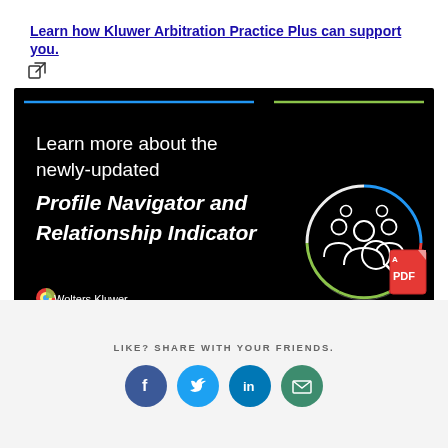Learn how Kluwer Arbitration Practice Plus can support you.
[Figure (illustration): Dark promotional banner for Wolters Kluwer showing 'Learn more about the newly-updated Profile Navigator and Relationship Indicator' with a circular icon of people/users on the right side and colored arc lines at the top. Wolters Kluwer logo at bottom left.]
[Figure (logo): PDF icon (red Adobe PDF style icon)]
LIKE? SHARE WITH YOUR FRIENDS.
[Figure (infographic): Social sharing buttons: Facebook, Twitter, LinkedIn, Email]